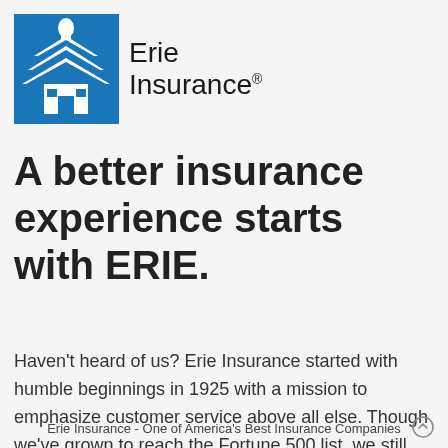[Figure (logo): Erie Insurance logo with blue building/house icon on left and 'Erie Insurance' text with registered trademark symbol on right]
A better insurance experience starts with ERIE.
Haven't heard of us? Erie Insurance started with humble beginnings in 1925 with a mission to emphasize customer service above all else. Though we've grown to reach the Fortune 500 list, we still haven't lost the
Erie Insurance - One of America's Best Insurance Companies